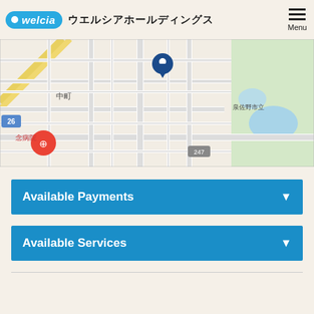welcia ウエルシアホールディングス Menu
[Figure (map): Google Maps view showing street map of a Japanese neighborhood with a blue location pin marker and a red location pin, streets labeled including route 247, areas including 中町 and 泉佐野市立, and a hospital (念病院) marked.]
Available Payments
Available Services